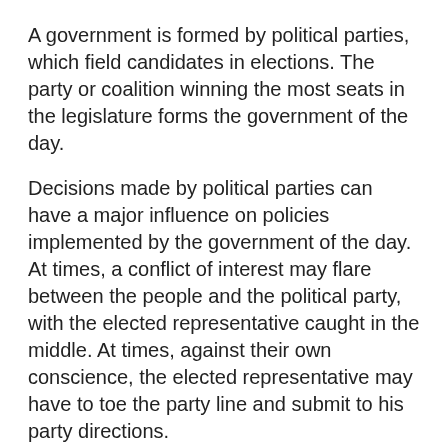A government is formed by political parties, which field candidates in elections. The party or coalition winning the most seats in the legislature forms the government of the day.
Decisions made by political parties can have a major influence on policies implemented by the government of the day. At times, a conflict of interest may flare between the people and the political party, with the elected representative caught in the middle. At times, against their own conscience, the elected representative may have to toe the party line and submit to his party directions.
Support the struggle to build a Malaysia based on Justice, Freedom, Solidarity: